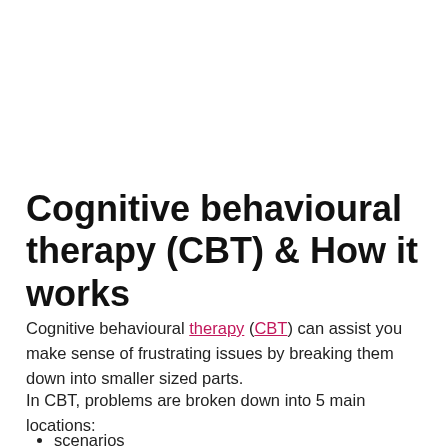Cognitive behavioural therapy (CBT) & How it works
Cognitive behavioural therapy (CBT) can assist you make sense of frustrating issues by breaking them down into smaller sized parts.
In CBT, problems are broken down into 5 main locations:
scenarios